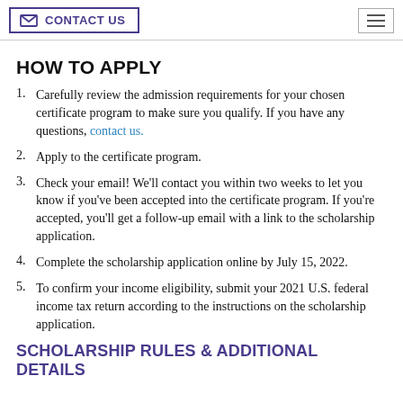CONTACT US
HOW TO APPLY
Carefully review the admission requirements for your chosen certificate program to make sure you qualify. If you have any questions, contact us.
Apply to the certificate program.
Check your email! We'll contact you within two weeks to let you know if you've been accepted into the certificate program. If you're accepted, you'll get a follow-up email with a link to the scholarship application.
Complete the scholarship application online by July 15, 2022.
To confirm your income eligibility, submit your 2021 U.S. federal income tax return according to the instructions on the scholarship application.
SCHOLARSHIP RULES & ADDITIONAL DETAILS